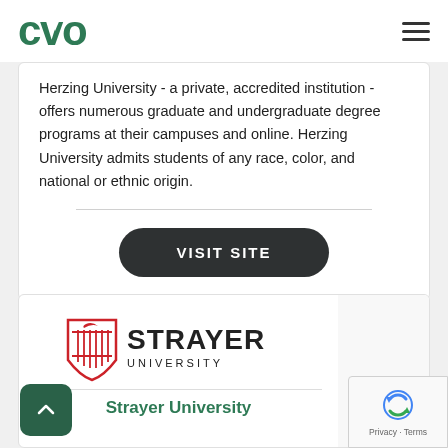CVO
Herzing University - a private, accredited institution - offers numerous graduate and undergraduate degree programs at their campuses and online. Herzing University admits students of any race, color, and national or ethnic origin.
VISIT SITE
[Figure (logo): Strayer University logo with red shield emblem and bold text 'STRAYER UNIVERSITY']
Strayer University